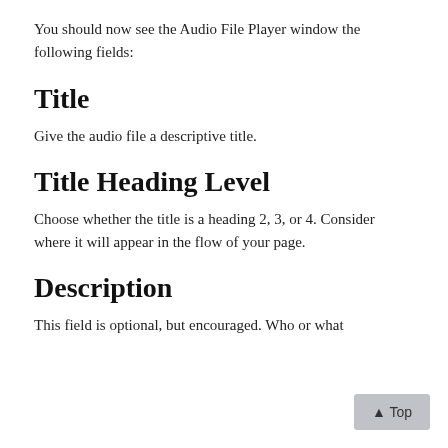You should now see the Audio File Player window the following fields:
Title
Give the audio file a descriptive title.
Title Heading Level
Choose whether the title is a heading 2, 3, or 4. Consider where it will appear in the flow of your page.
Description
This field is optional, but encouraged. Who or what